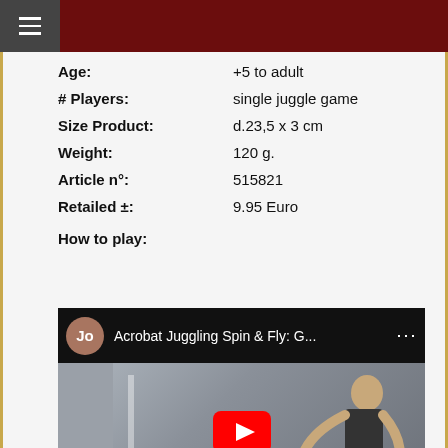≡
| Field | Value |
| --- | --- |
| Age: | +5 to adult |
| # Players: | single juggle game |
| Size Product: | d.23,5 x 3 cm |
| Weight: | 120 g. |
| Article n°: | 515821 |
| Retailed ±: | 9.95 Euro |
| How to play: |  |
[Figure (screenshot): YouTube video thumbnail showing a man juggling, with title 'Acrobat Juggling Spin & Fly: G...' and channel avatar 'Jo']